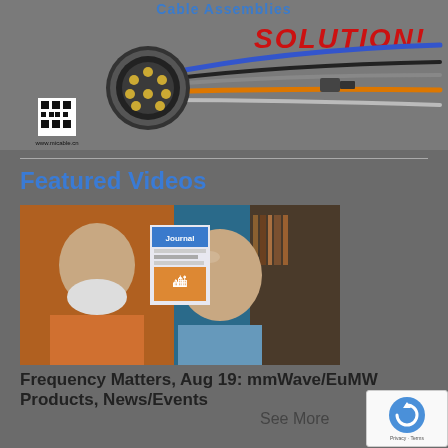[Figure (photo): Cable Assembly advertisement banner showing a circular multi-pin connector with multiple colored cables (blue, black, orange, silver), 'SOLUTION!' text in red italic, a QR code and www.micable.cn URL. Text at top reads 'Cable Assemblies' in blue.]
Featured Videos
[Figure (photo): Video thumbnail showing two men side-by-side: an older man with white beard on the left wearing an orange shirt, and a middle-aged bald man on the right wearing a light blue shirt. A journal cover is visible between them. Text overlay says 'Journal'.]
Frequency Matters, Aug 19: mmWave/EuMW Products, News/Events
See More